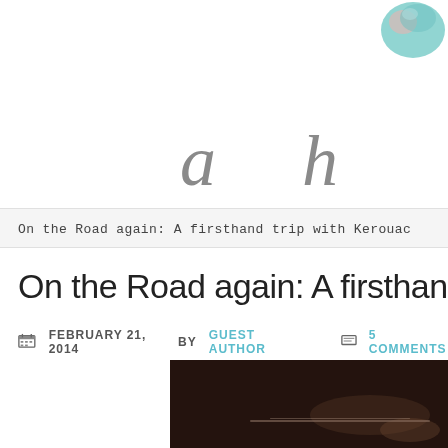[Figure (illustration): Blog header area with decorative feather/egg graphic in teal/pink at top right, and cursive script text 'a h' in gray]
On the Road again: A firsthand trip with Kerouac
On the Road again: A firsthand trip wi
FEBRUARY 21, 2014 BY GUEST AUTHOR   5 COMMENTS
[Figure (photo): Dark photograph (partially visible) showing what appears to be a road or vehicle scene, cropped at bottom of page]